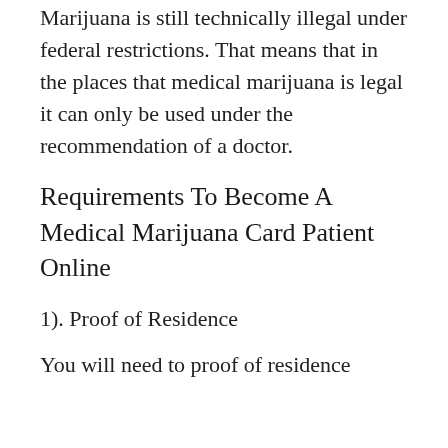Marijuana is still technically illegal under federal restrictions. That means that in the places that medical marijuana is legal it can only be used under the recommendation of a doctor.
Requirements To Become A Medical Marijuana Card Patient Online
1). Proof of Residence
You will need to proof of residence